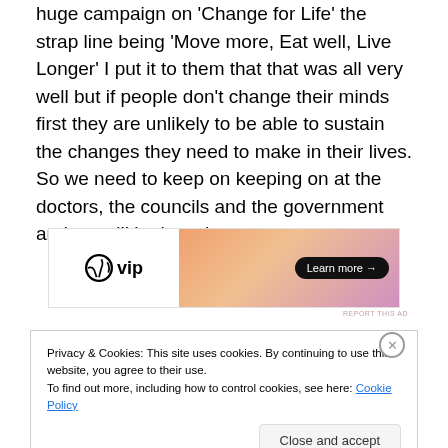huge campaign on 'Change for Life' the strap line being 'Move more, Eat well, Live Longer' I put it to them that that was all very well but if people don't change their minds first they are unlikely to be able to sustain the changes they need to make in their lives. So we need to keep on keeping on at the doctors, the councils and the government and we will be heard.
[Figure (other): WordPress VIP advertisement banner with 'Learn more' button]
Privacy & Cookies: This site uses cookies. By continuing to use this website, you agree to their use. To find out more, including how to control cookies, see here: Cookie Policy
Close and accept